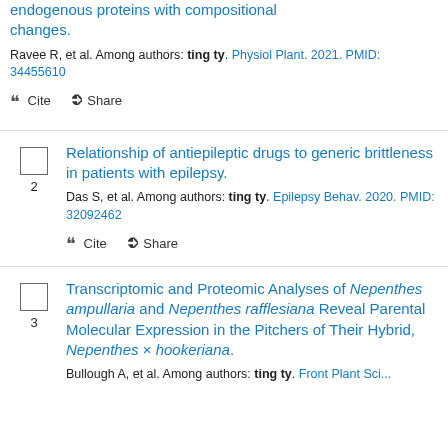endogenous proteins with compositional changes.
Ravee R, et al. Among authors: ting ty. Physiol Plant. 2021. PMID: 34455610
2 - Relationship of antiepileptic drugs to generic brittleness in patients with epilepsy.
Das S, et al. Among authors: ting ty. Epilepsy Behav. 2020. PMID: 32092462
3 - Transcriptomic and Proteomic Analyses of Nepenthes ampullaria and Nepenthes rafflesiana Reveal Parental Molecular Expression in the Pitchers of Their Hybrid, Nepenthes × hookeriana.
Bullough A, et al. Among authors: ting ty. Front Plant Sci...